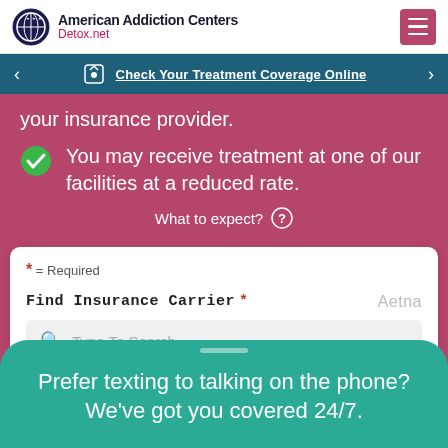American Addiction Centers Detox.net
Check Your Treatment Coverage Online
your insurance provider.
You may receive treatment at one of our facilities at a reduced rate.
What to expect?
* = Required
Find Insurance Carrier * Aetna
Type To Search
Prefer texting to talking on the phone? We've got you covered 24/7.